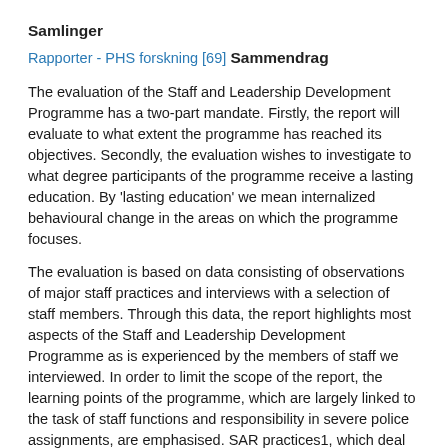Samlinger
Rapporter - PHS forskning [69]
Sammendrag
The evaluation of the Staff and Leadership Development Programme has a two-part mandate. Firstly, the report will evaluate to what extent the programme has reached its objectives. Secondly, the evaluation wishes to investigate to what degree participants of the programme receive a lasting education. By 'lasting education' we mean internalized behavioural change in the areas on which the programme focuses.
The evaluation is based on data consisting of observations of major staff practices and interviews with a selection of staff members. Through this data, the report highlights most aspects of the Staff and Leadership Development Programme as is experienced by the members of staff we interviewed. In order to limit the scope of the report, the learning points of the programme, which are largely linked to the task of staff functions and responsibility in severe police assignments, are emphasised. SAR practices1, which deal with preparedness and cooperation with collaborative, civil agencies, are less touched upon.